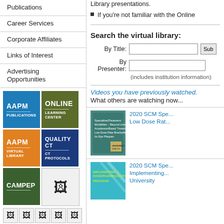Publications
Career Services
Corporate Affiliates
Links of Interest
Advertising Opportunities
[Figure (logo): AAPM Publications logo (blue box)]
[Figure (logo): Online Learning Center logo (olive/green box)]
[Figure (logo): AAPM Virtual Library logo (orange box)]
[Figure (logo): Quality CT CT Protocols logo (dark blue box)]
[Figure (logo): CAMPEP logo (dark green box)]
Library presentations.
If you're not familiar with the Online
Search the virtual library:
By Title:
By Presenter:
(includes institution information)
Videos you have previously watched.
What others are watching now...
[Figure (photo): Thumbnail of 2020 SCM Specialized Treatment Modalities Beyond Linear Accelerator Based Treatments Low Dose Rate Brachytherapy for Eye Plaques book cover]
2020 SCM Spe... Low Dose Rat...
[Figure (screenshot): Thumbnail of 2020 SCM Implementing a Radiopharmaceutical Therapy Program slide]
2020 SCM Spe... Implementing ... University